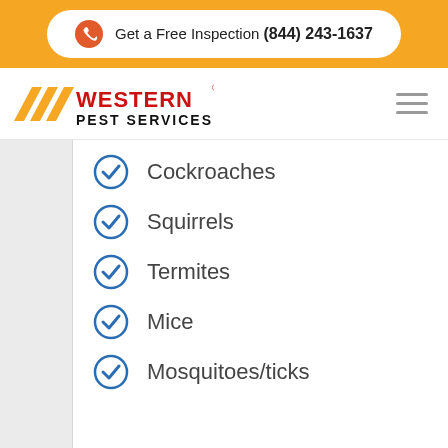Get a Free Inspection (844) 243-1637
[Figure (logo): Western Pest Services logo with orange chevron shapes and red WESTERN text]
Cockroaches
Squirrels
Termites
Mice
Mosquitoes/ticks